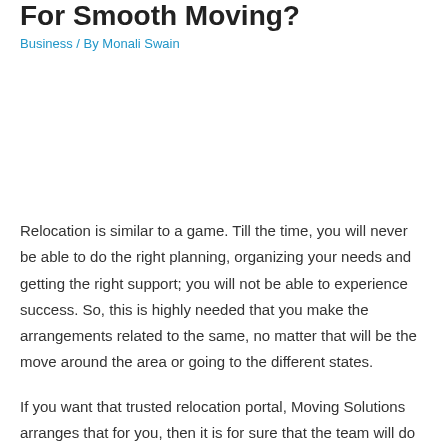For Smooth Moving?
Business / By Monali Swain
Relocation is similar to a game. Till the time, you will never be able to do the right planning, organizing your needs and getting the right support; you will not be able to experience success. So, this is highly needed that you make the arrangements related to the same, no matter that will be the move around the area or going to the different states.
If you want that trusted relocation portal, Moving Solutions arranges that for you, then it is for sure that the team will do the same as well. Also, you have to remember that time is the key, so